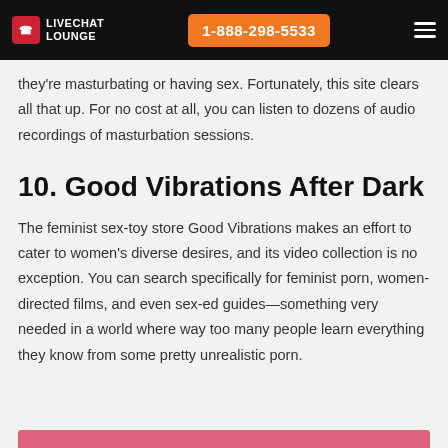LIVECHAT LOUNGE | 1-888-298-5533
they're masturbating or having sex. Fortunately, this site clears all that up. For no cost at all, you can listen to dozens of audio recordings of masturbation sessions.
10. Good Vibrations After Dark
The feminist sex-toy store Good Vibrations makes an effort to cater to women's diverse desires, and its video collection is no exception. You can search specifically for feminist porn, women-directed films, and even sex-ed guides—something very needed in a world where way too many people learn everything they know from some pretty unrealistic porn.